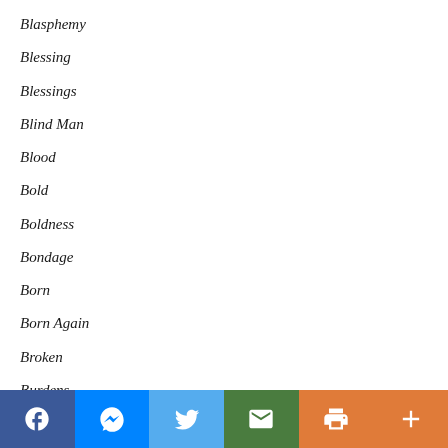Blasphemy
Blessing
Blessings
Blind Man
Blood
Bold
Boldness
Bondage
Born
Born Again
Broken
Burdens
Called
Challenge
Change
Character